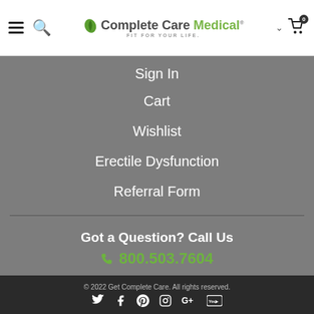[Figure (logo): Complete Care Medical logo with leaf icon and tagline FIT FOR YOUR LIFE.]
Sign In
Cart
Wishlist
Erectile Dysfunction
Referral Form
Got a Question? Call Us
800.503.7604
© 2022 Get Complete Care. All rights reserved.